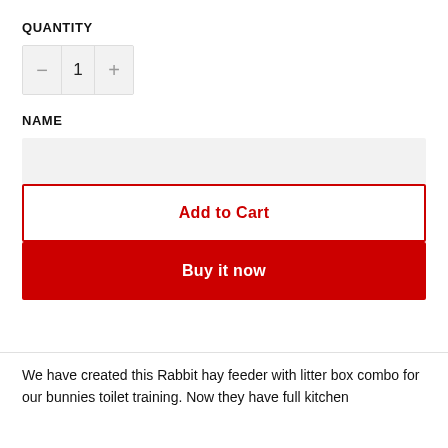QUANTITY
[Figure (other): Quantity selector control with minus button, number 1, and plus button on a gray background]
NAME
[Figure (other): Name text input field with gray background]
[Figure (other): Add to Cart button with red border and red text on white background]
[Figure (other): Buy it now button with red background and white text]
We have created this Rabbit hay feeder with litter box combo for our bunnies toilet training. Now they have full kitchen